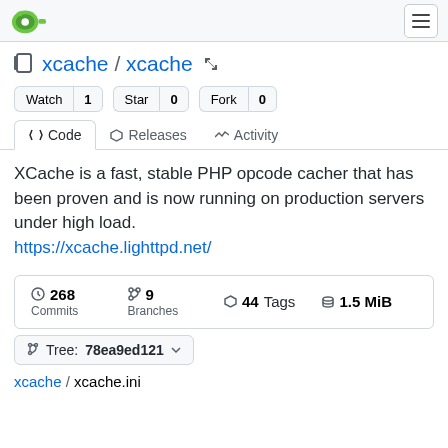Gitea logo and navigation menu button
xcache / xcache
Watch 1  Star 0  Fork 0
<> Code  Releases  Activity
XCache is a fast, stable PHP opcode cacher that has been proven and is now running on production servers under high load.
https://xcache.lighttpd.net/
| Commits | Branches | Tags | Size |
| --- | --- | --- | --- |
| 268 | 9 | 44 | 1.5 MiB |
Tree: 78ea9ed121
xcache / xcache.ini